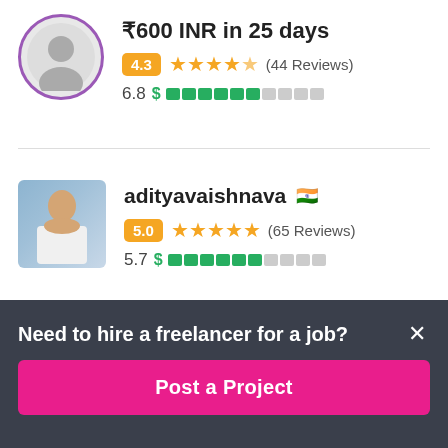₹600 INR in 25 days
4.3 ★★★★½ (44 Reviews)
6.8 $ ██████░░░
adityavaishnava 🇮🇳
5.0 ★★★★★ (65 Reviews)
5.7 $ ██████░░░░
Need to hire a freelancer for a job?
Post a Project